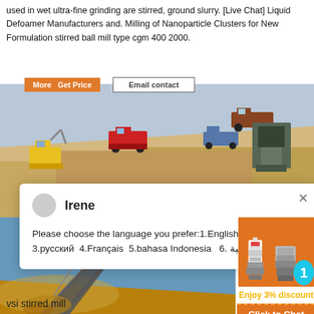used in wet ultra-fine grinding are stirred, ground slurry. [Live Chat] Liquid Defoamer Manufacturers and. Milling of Nanoparticle Clusters for New Formulation stirred ball mill type cgm 400 2000.
[Figure (illustration): Construction/quarry simulation with trucks, excavators and milling equipment on a sandy terrain.]
[Figure (screenshot): Live chat popup with avatar for Irene asking to choose language: 1.English 2.Español 3.русский 4.Français 5.bahasa Indonesia 6. عربية]
[Figure (photo): Conveyor belt at a quarry or mining site with dust and sand being transported, blue sky background.]
[Figure (illustration): Sidebar with industrial mill equipment images, cyan badge with number 1, orange background, Enjoy 3% discount, Click to Chat, Enquiry buttons.]
vsi stirred mill